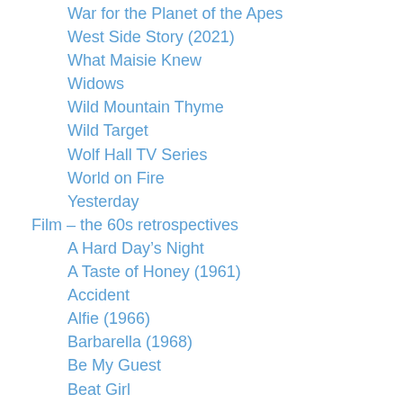War for the Planet of the Apes
West Side Story (2021)
What Maisie Knew
Widows
Wild Mountain Thyme
Wild Target
Wolf Hall TV Series
World on Fire
Yesterday
Film – the 60s retrospectives
A Hard Day's Night
A Taste of Honey (1961)
Accident
Alfie (1966)
Barbarella (1968)
Be My Guest
Beat Girl
Blow-up
Bonnie and Clyde
Bullitt (1968)